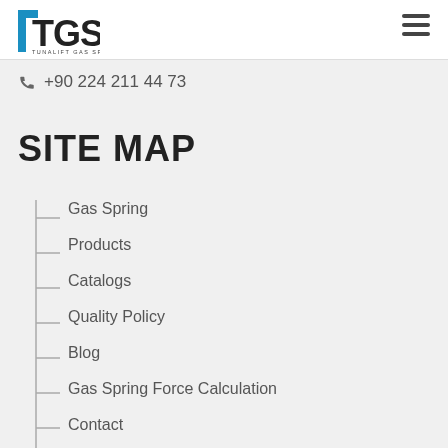[Figure (logo): TGS Tunalift Gas Springs logo with blue and black lettering]
+90 224 211 44 73
SITE MAP
Gas Spring
Products
Catalogs
Quality Policy
Blog
Gas Spring Force Calculation
Contact